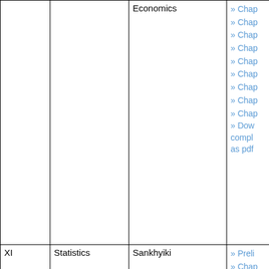| Class | Subject | Book Name | Chapters/Downloads |
| --- | --- | --- | --- |
|  |  | Economics | » Chap
» Chap
» Chap
» Chap
» Chap
» Chap
» Chap
» Chap
» Chap
» Download complete as pdf |
| XI | Statistics | Sankhyiki | » Preli
» Chap
» Chap
» Chap
» Chap |